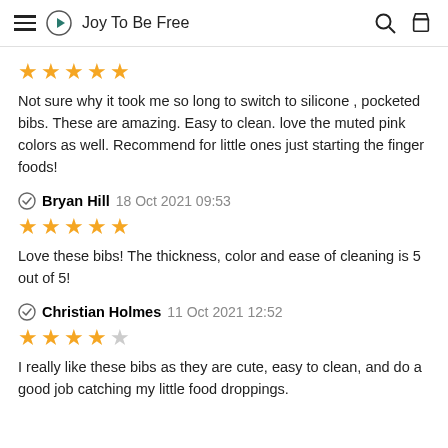Joy To Be Free
Not sure why it took me so long to switch to silicone , pocketed bibs. These are amazing. Easy to clean. love the muted pink colors as well. Recommend for little ones just starting the finger foods!
Bryan Hill  18 Oct 2021 09:53
Love these bibs! The thickness, color and ease of cleaning is 5 out of 5!
Christian Holmes  11 Oct 2021 12:52
I really like these bibs as they are cute, easy to clean, and do a good job catching my little food droppings.